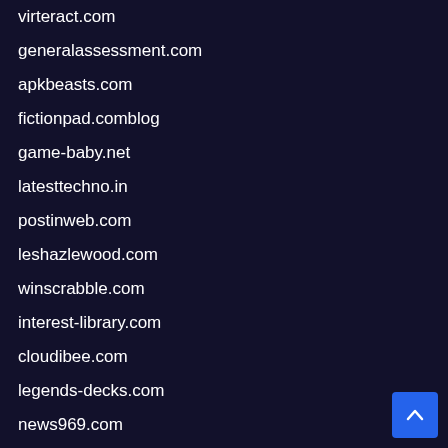virteract.com
generalassessment.com
apkbeasts.com
fictionpad.comblog
game-baby.net
latesttechno.in
postinweb.com
leshazlewood.com
winscrabble.com
interest-library.com
cloudibee.com
legends-decks.com
news969.com
redcherryshrimp.net
w-24h.com